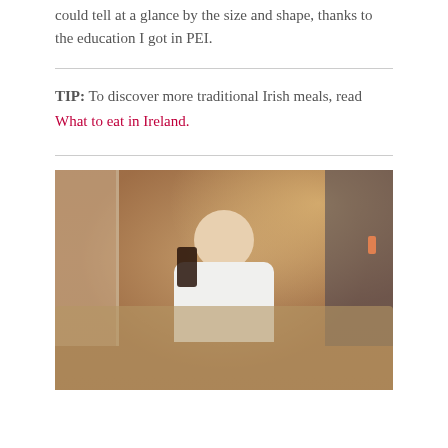could tell at a glance by the size and shape, thanks to the education I got in PEI.
TIP: To discover more traditional Irish meals, read What to eat in Ireland.
[Figure (photo): A smiling woman in a white top holding a dark pint glass (Guinness), seated at a table covered with plates of oysters. Warm, dim restaurant setting with a window visible in the background.]